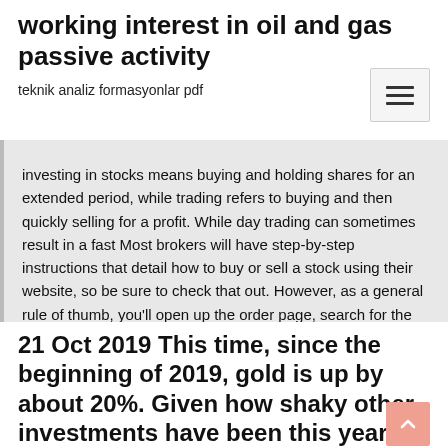working interest in oil and gas passive activity
teknik analiz formasyonlar pdf
Investing in stocks means buying and holding shares for an extended period, while trading refers to buying and then quickly selling for a profit. While day trading can sometimes result in a fast Most brokers will have step-by-step instructions that detail how to buy or sell a stock using their website, so be sure to check that out. However, as a general rule of thumb, you'll open up the order page, search for the ticker symbol for the company's stock, and enter the details of your trade.
21 Oct 2019 This time, since the beginning of 2019, gold is up by about 20%. Given how shaky other investments have been this year, this has excited some